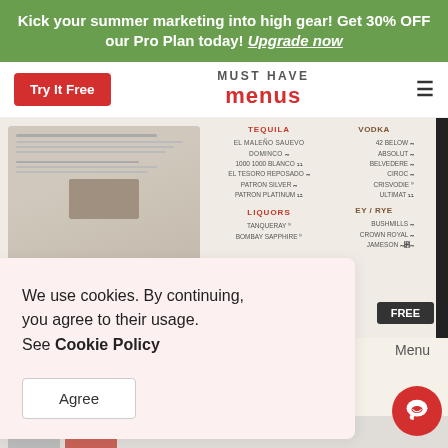Kick your summer marketing into high gear! Get 30% OFF our Pro Plan today! Upgrade now
[Figure (screenshot): Must Have Menus website navigation bar with Try It Free button and logo]
[Figure (screenshot): Restaurant menu templates preview with FREE badge overlay and spirits/tequila/vodka listings]
We use cookies. By continuing, you agree to their usage. See Cookie Policy
Agree
Menu